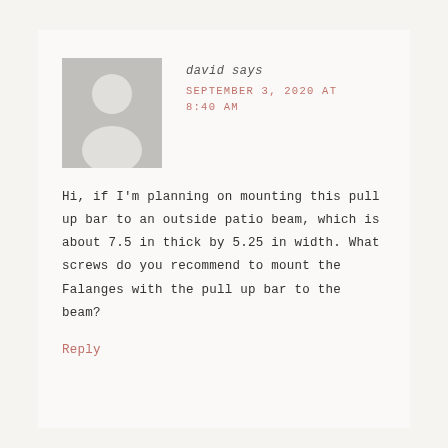[Figure (illustration): Generic grey avatar placeholder image showing silhouette of a person with head and shoulders]
david says
SEPTEMBER 3, 2020 AT 8:40 AM
Hi, if I'm planning on mounting this pull up bar to an outside patio beam, which is about 7.5 in thick by 5.25 in width. What screws do you recommend to mount the Falanges with the pull up bar to the beam?
Reply